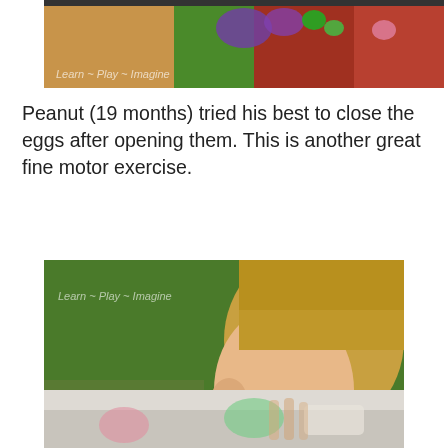[Figure (photo): Top portion of a colorful sensory bin with colored rice/sand in sections (orange, green, red), purple bowls, and Easter eggs. Watermark reads 'Learn ~ Play ~ Imagine'.]
Peanut (19 months) tried his best to close the eggs after opening them. This is another great fine motor exercise.
[Figure (photo): Close-up side profile of a young toddler with blonde hair looking down at something green (an Easter egg), outdoors with blurred green grass background. Watermark reads 'Learn ~ Play ~ Imagine'.]
[Figure (photo): Bottom partial photo showing a blurred close-up of a toddler's hands playing with colorful Easter eggs on a surface.]